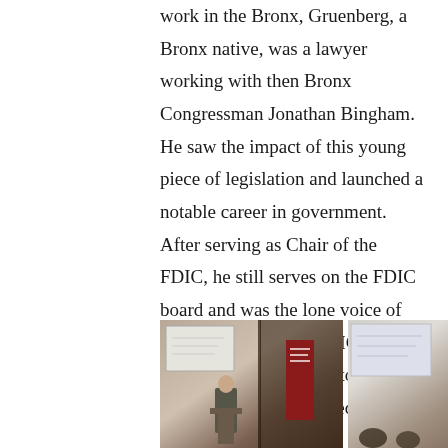work in the Bronx, Gruenberg, a Bronx native, was a lawyer working with then Bronx Congressman Jonathan Bingham. He saw the impact of this young piece of legislation and launched a notable career in government. After serving as Chair of the FDIC, he still serves on the FDIC board and was the lone voice of dissent at the recent FDIC meeting at which these changes to CRA regulation were approved.
[Figure (photo): Two side-by-side photos from an event. Left photo shows a speaker at a podium with a projection screen and a dark red banner. Right photo shows a woman presenting at a podium with a projection screen and audience members visible.]